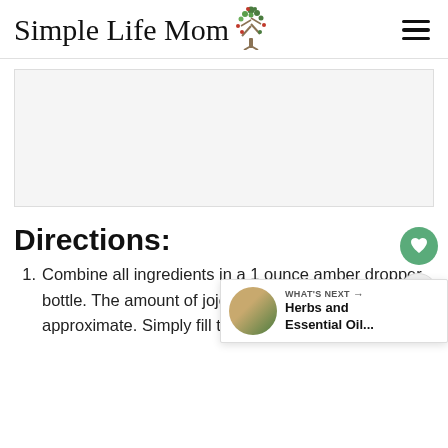Simple Life Mom
[Figure (other): Advertisement or content placeholder block]
Directions:
Combine all ingredients in a 1 ounce amber dropper bottle. The amount of jojoba and rosehip oils are approximate. Simply fill the bottle with
[Figure (infographic): What's Next widget showing Herbs and Essential Oil... with circular thumbnail]